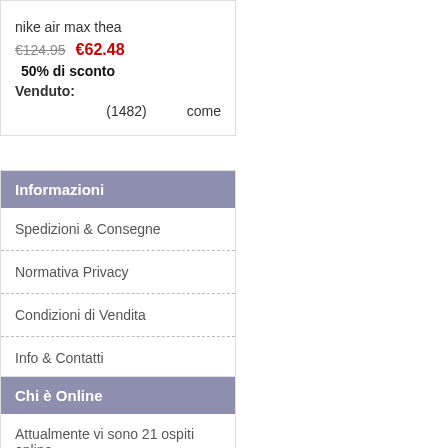nike air max thea
€124.95   €62.48
50% di sconto
Venduto:
(1482)   come
Informazioni
Spedizioni & Consegne
Normativa Privacy
Condizioni di Vendita
Info & Contatti
Mappa del Sito
Chi è Online
Attualmente vi sono 21 ospiti online.